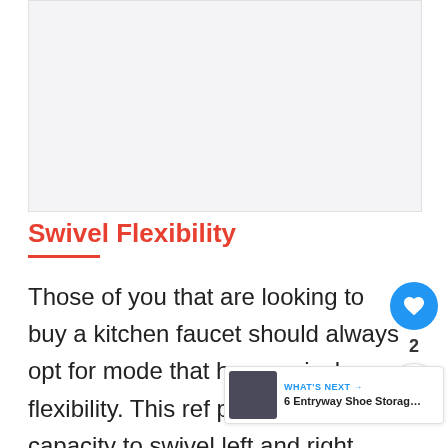[Figure (photo): Light gray image placeholder area at top of page]
Swivel Flexibility
Those of you that are looking to buy a kitchen faucet should always opt for models that have swivel flexibility. This refers to the product's capacity to swivel left and right, making it easier to use the space in the